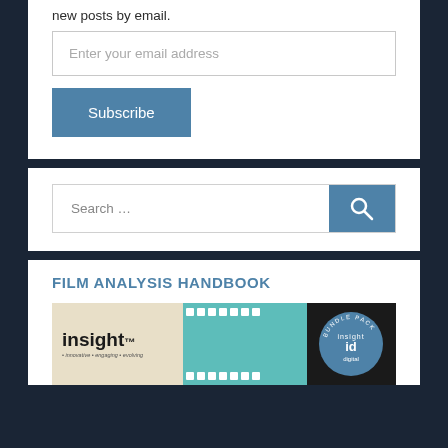new posts by email.
Enter your email address
Subscribe
Search …
FILM ANALYSIS HANDBOOK
[Figure (photo): Book cover image for Film Analysis Handbook showing Insight branding and bundle pack badge on a teal film strip background]